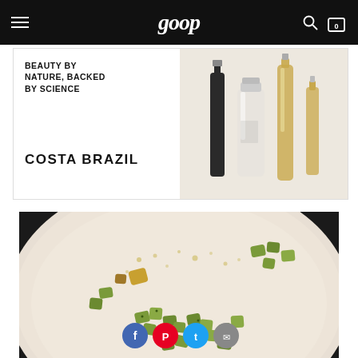goop
[Figure (photo): Costa Brazil advertisement banner with text 'BEAUTY BY NATURE, BACKED BY SCIENCE' and 'COSTA BRAZIL' on left, product bottles on a beige background on right]
[Figure (photo): Close-up photo of diced zucchini sautéing in olive oil in a light-colored pan on a dark stovetop burner, with four social sharing buttons (Facebook, Pinterest, Twitter, Email) overlaid at the bottom]